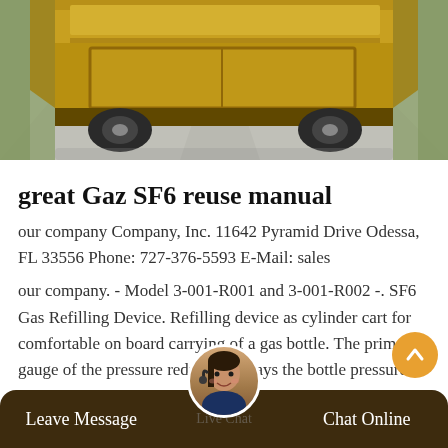[Figure (photo): Rear view of a yellow/orange truck driving on a road, with vegetation on both sides]
great Gaz SF6 reuse manual
our company Company, Inc. 11642 Pyramid Drive Odessa, FL 33556 Phone: 727-376-5593 E-Mail: sales
our company. - Model 3-001-R001 and 3-001-R002 -. SF6 Gas Refilling Device. Refilling device as cylinder cart for comfortable on board carrying of a gas bottle. The primary gauge of the pressure reducer displays the bottle pressure in bar, psi and kPa, the secondary gauge indicates the desired filling pressure to be set easily by means of the handle.
Leave Message  Chat Online